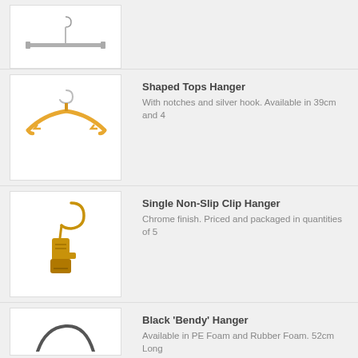[Figure (photo): Metal clip/trouser hanger with silver bar and hook, partially visible (top of page, cropped)]
[Figure (photo): Shaped wooden tops hanger in natural/blonde wood finish with silver hook and notches]
Shaped Tops Hanger
With notches and silver hook. Available in 39cm and 4
[Figure (photo): Single non-slip clip hanger in gold/chrome finish with hook mechanism]
Single Non-Slip Clip Hanger
Chrome finish. Priced and packaged in quantities of 5
[Figure (photo): Black Bendy hanger, partially visible at bottom of page]
Black 'Bendy' Hanger
Available in PE Foam and Rubber Foam. 52cm Long